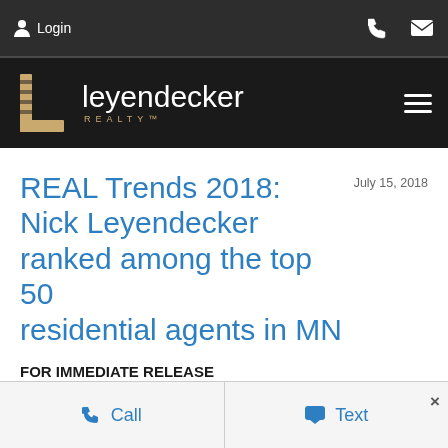Login
[Figure (logo): Leyendecker Realty logo with stylized 'L' icon in gold and white text on dark background]
REAL Trends 2018: Nick Leyendecker ranked among the top 50 residential agents in MN
July 15, 2018
FOR IMMEDIATE RELEASE
Call   Text